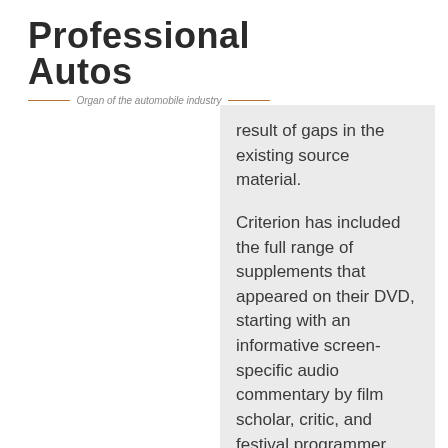Professional Autos — Organ of the automobile industry —
result of gaps in the existing source material.

Criterion has included the full range of supplements that appeared on their DVD, starting with an informative screen-specific audio commentary by film scholar, critic, and festival programmer Tony Rayns, a Criterion regular. In the film's brief 73 minutes, Rayns is quite efficient in packing the commentary with both background information and